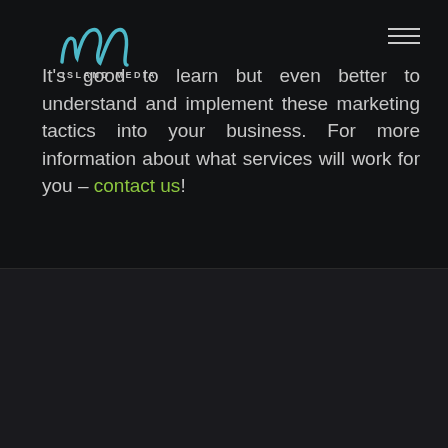[Figure (logo): Island Media logo — stylized 'im' script with ISLAND MEDIA text below]
It's good to learn but even better to understand and implement these marketing tactics into your business. For more information about what services will work for you – contact us!
Related Posts
[Figure (photo): Thumbnail image area for related post, gray background]